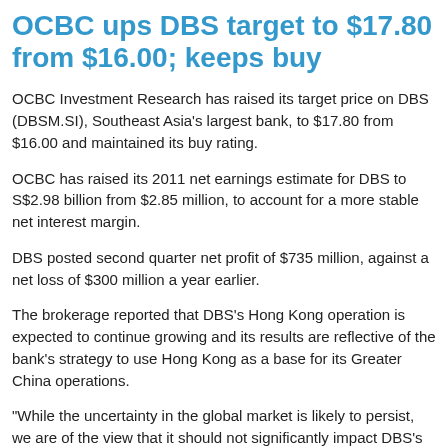OCBC ups DBS target to $17.80 from $16.00; keeps buy
OCBC Investment Research has raised its target price on DBS (DBSM.SI), Southeast Asia’s largest bank, to $17.80 from $16.00 and maintained its buy rating.
OCBC has raised its 2011 net earnings estimate for DBS to S$2.98 billion from $2.85 million, to account for a more stable net interest margin.
DBS posted second quarter net profit of $735 million, against a net loss of $300 million a year earlier.
The brokerage reported that DBS’s Hong Kong operation is expected to continue growing and its results are reflective of the bank’s strategy to use Hong Kong as a base for its Greater China operations.
“While the uncertainty in the global market is likely to persist, we are of the view that it should not significantly impact DBS’s earnings in Singapore and Hong Kong,” OCBC said in